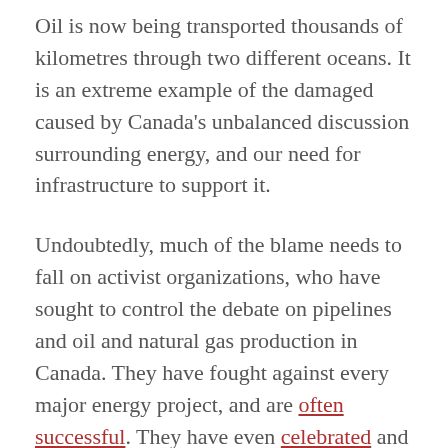Oil is now being transported thousands of kilometres through two different oceans. It is an extreme example of the damaged caused by Canada's unbalanced discussion surrounding energy, and our need for infrastructure to support it.
Undoubtedly, much of the blame needs to fall on activist organizations, who have sought to control the debate on pipelines and oil and natural gas production in Canada. They have fought against every major energy project, and are often successful. They have even celebrated and claimed